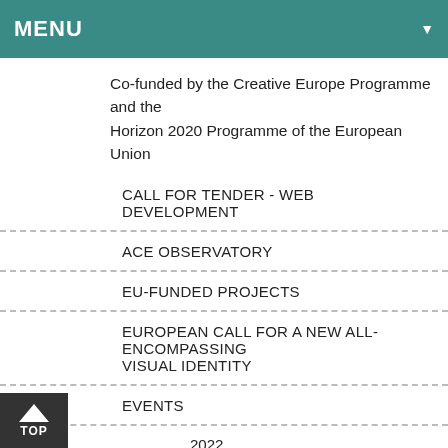MENU
Co-funded by the Creative Europe Programme and the Horizon 2020 Programme of the European Union
CALL FOR TENDER - WEB DEVELOPMENT
ACE OBSERVATORY
EU-FUNDED PROJECTS
EUROPEAN CALL FOR A NEW ALL-ENCOMPASSING VISUAL IDENTITY
EVENTS
2022
2021